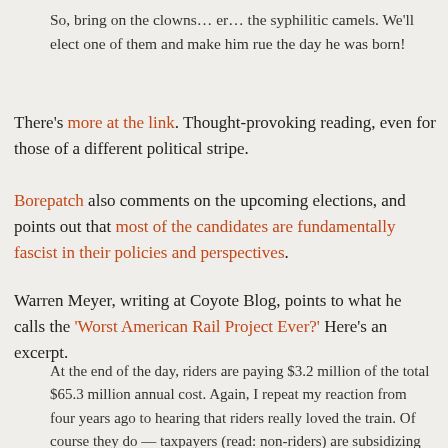So, bring on the clowns… er… the syphilitic camels. We'll elect one of them and make him rue the day he was born!
There's more at the link. Thought-provoking reading, even for those of a different political stripe.
Borepatch also comments on the upcoming elections, and points out that most of the candidates are fundamentally fascist in their policies and perspectives.
Warren Meyer, writing at Coyote Blog, points to what he calls the 'Worst American Rail Project Ever?' Here's an excerpt.
At the end of the day, riders are paying $3.2 million of the total $65.3 million annual cost. Again, I repeat my reaction from four years ago to hearing that riders really loved the train. Of course they do — taxpayers (read: non-riders) are subsidizing 95.1% of the service they get. I wonder if they paid the full cost of the train ride — ie if their ticket prices were increased 20x — how